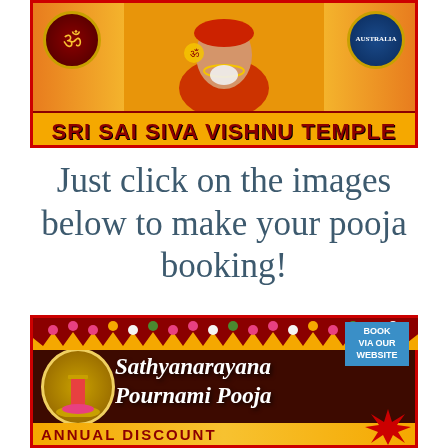[Figure (illustration): Sri Sai Siva Vishnu Temple banner with yellow/orange background, Sai Baba deity figure in center, two circular logos on sides, and 'SRI SAI SIVA VISHNU TEMPLE' text in dark red bold letters at bottom]
Just click on the images below to make your pooja booking!
[Figure (illustration): Sathyanarayana Pournami Pooja promotional banner with dark brown background, decorative garland at top, Sri Sai Siva Vishnu Temple logo on left, italic white text 'Sathyanarayana Pournami Pooja', blue 'BOOK VIA OUR WEBSITE' banner top right, and 'ANNUAL DISCOUNT' text in yellow at bottom with red starburst]